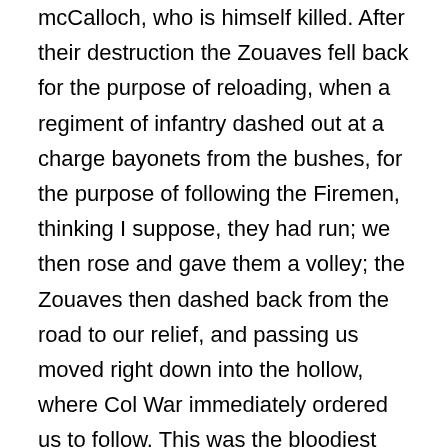mcCalloch, who is himself killed. After their destruction the Zouaves fell back for the purpose of reloading, when a regiment of infantry dashed out at a charge bayonets from the bushes, for the purpose of following the Firemen, thinking I suppose, they had run; we then rose and gave them a volley; the Zouaves then dashed back from the road to our relief, and passing us moved right down into the hollow, where Col War immediately ordered us to follow. This was the bloodiest part of the battle; here we were exposed to both infantry, riflemen and occasional charges of cavalry, besides the continual and rapid fire of their whole artillery. Here we were for three hours, some of us now charging with parties of Zouaves, and now with some of our own men; five times I came within sight of their masked batteries, and in this hot place were the Zouaves and our regiment kept, without one company of any other regiment coming to our support. Once and once